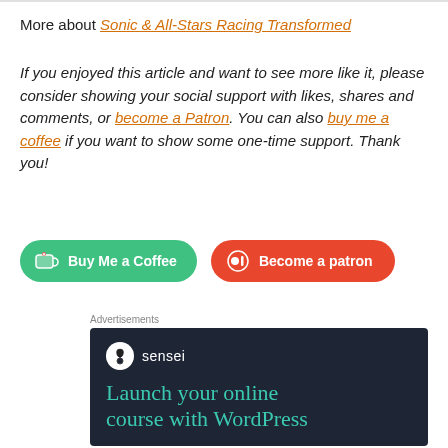More about Sonic & All-Stars Racing Transformed
If you enjoyed this article and want to see more like it, please consider showing your social support with likes, shares and comments, or become a Patron. You can also buy me a coffee if you want to show some one-time support. Thank you!
[Figure (infographic): Two call-to-action buttons: a green rounded 'Buy Me a Coffee' button and an orange-red rounded 'Become a patron' button]
Advertisements
[Figure (infographic): Sensei advertisement with dark background showing logo and text: 'Launch your online course with WordPress']